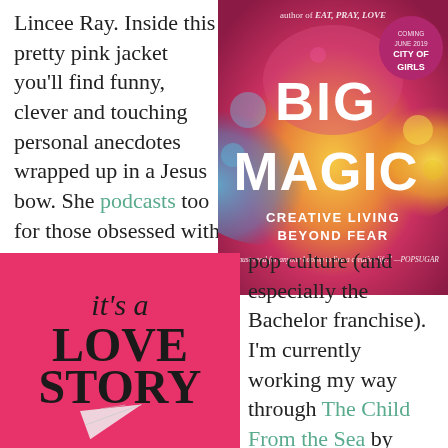Lincee Ray. Inside this pretty pink jacket you'll find funny, clever and touching personal anecdotes wrapped up in a Jesus bow. She podcasts too for those obsessed with
[Figure (photo): Book cover of 'Big Magic: Creative Living Beyond Fear' with colorful powder paint design and a pink 'City of Girls' badge]
[Figure (photo): Book cover of 'it's a LOVE STORY' with pink background and paper airplane]
pop culture (and especially the Bachelor franchise). I'm currently working my way through The Child From the Sea by